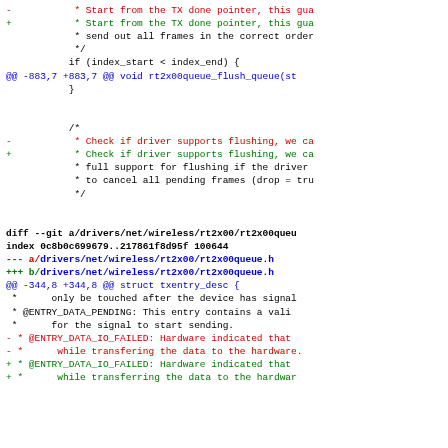Diff/patch code showing changes to rt2x00queue.c and rt2x00queue.h files in Linux wireless driver